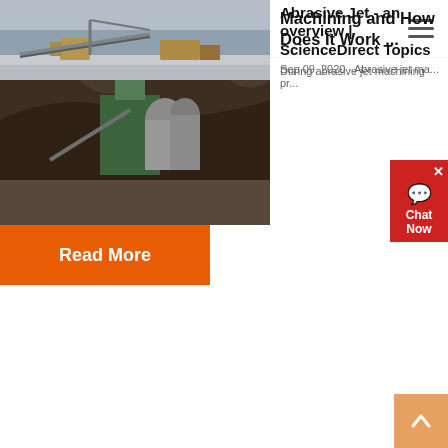zFactory
[Figure (photo): Industrial quarry or mining facility with large machinery, silos, and earthworks in a mountainous area]
Machining and How Does It Work ...
Sep 09, 2020 · Abrasive jet ma...
Read More
Abrasive Jet - an overview | ScienceDirect Topics
[Figure (photo): Outdoor industrial facility with conveyors and heavy machinery in a winter/snowy setting]
During abrasive jet machining pr...